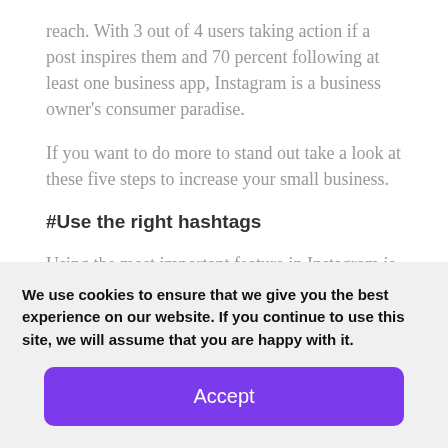reach. With 3 out of 4 users taking action if a post inspires them and 70 percent following at least one business app, Instagram is a business owner's consumer paradise.
If you want to do more to stand out take a look at these five steps to increase your small business.
#Use the right hashtags
Using the most important feature in Instagram is beneficial for your small business. Studies have
We use cookies to ensure that we give you the best experience on our website. If you continue to use this site, we will assume that you are happy with it.
Accept